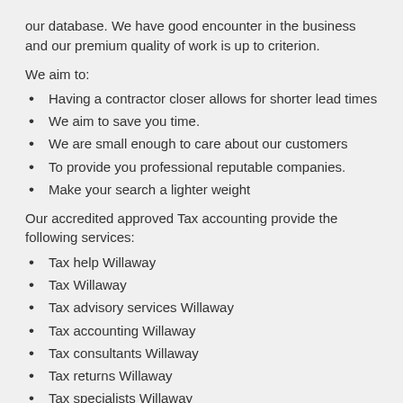our database. We have good encounter in the business and our premium quality of work is up to criterion.
We aim to:
Having a contractor closer allows for shorter lead times
We aim to save you time.
We are small enough to care about our customers
To provide you professional reputable companies.
Make your search a lighter weight
Our accredited approved Tax accounting provide the following services:
Tax help Willaway
Tax Willaway
Tax advisory services Willaway
Tax accounting Willaway
Tax consultants Willaway
Tax returns Willaway
Tax specialists Willaway
Tax problem Willaway
Tax practitioner Willaway
Bookkeeper Willaway
Accounting consultants Willaway
Tax services Willaway
Bookkeeping service Willaway
Tax expert Willaway
Bookkeeping services Willaway